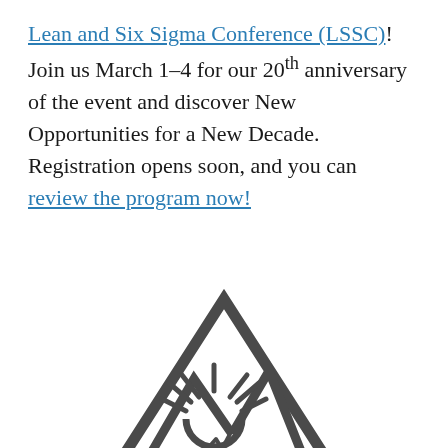Lean and Six Sigma Conference (LSSC)! Join us March 1-4 for our 20th anniversary of the event and discover New Opportunities for a New Decade. Registration opens soon, and you can review the program now!
[Figure (logo): LSSC conference logo: stylized mountain peaks inside a triangle with a rising sun and radiating rays, drawn in dark gray outline style]